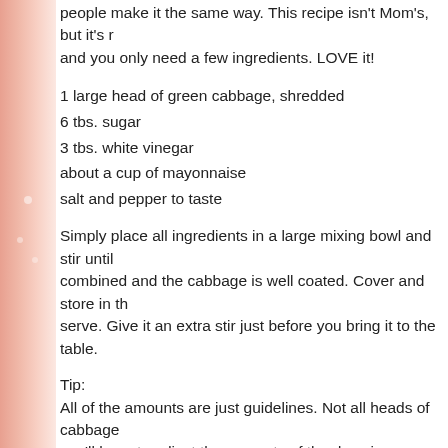people make it the same way. This recipe isn't Mom's, but it's r... and you only need a few ingredients. LOVE it!
1 large head of green cabbage, shredded
6 tbs. sugar
3 tbs. white vinegar
about a cup of mayonnaise
salt and pepper to taste
Simply place all ingredients in a large mixing bowl and stir until combined and the cabbage is well coated. Cover and store in the serve. Give it an extra stir just before you bring it to the table.
Tip:
All of the amounts are just guidelines. Not all heads of cabbage you'll have to adjust the amounts of the dressing ingredients to always use 2 tbs of sugar for every 1 tbs of vinegar. You can cu you prefer a your cole slaw to be more tangy that sweet. When you first add the mayonnaise, you'll stir it up and you'll th mayo, it's too dry" and you'll want to add more. Don't do it! The thought the same thing, so I added more. After about an hour, I ...